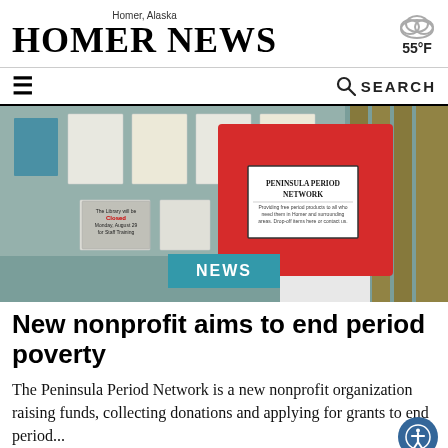Homer, Alaska — HOMER NEWS — 55°F
[Figure (photo): A red donation box labeled 'Peninsula Period Network' mounted on a wall with bulletin board notices in the background]
NEWS
New nonprofit aims to end period poverty
The Peninsula Period Network is a new nonprofit organization raising funds, collecting donations and applying for grants to end period...
By [author] · August 31, 2022 1:30 pm